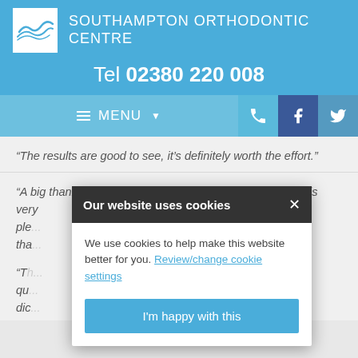[Figure (logo): Southampton Orthodontic Centre logo with seagull and white square]
SOUTHAMPTON ORTHODONTIC CENTRE
Tel 02380 220 008
[Figure (screenshot): Navigation bar with MENU, phone, Facebook, and Twitter icons]
“The results are good to see, it’s definitely worth the effort.”
“A big thank you and another happy smile achieved. Ben is very ple... as I am. Please pass our tha...
[Figure (screenshot): Cookie consent modal overlay with close button, cookie policy text, Review/change cookie settings link, and I'm happy with this button]
“Th... t and surprisingly qu... d too, pain free. I dic... here I didn’t notice